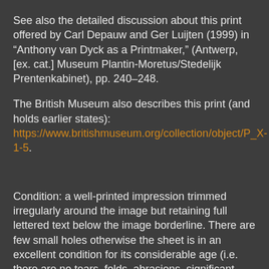See also the detailed discussion about this print offered by Carl Depauw and Ger Luijten (1999) in “Anthony van Dyck as a Printmaker,” (Antwerp, [ex. cat.] Museum Plantin-Moretus/Stedelijk Prentenkabinet), pp. 240–248.
The British Museum also describes this print (and holds earlier states): https://www.britishmuseum.org/collection/object/P_X-1-5.
Condition: a well-printed impression trimmed irregularly around the image but retaining full lettered text below the image borderline. There are few small holes otherwise the sheet is in an excellent condition for its considerable age (i.e. there are no tears, folds, abrasions, significant stains or foxing) and it is laid onto a support sheet of archival (millennium quality) washi paper.
I am selling this historically important etching (with engraving) showing not only a faithful portrait of the “peerless” artist, Titian, and his mistress, but also revealing a